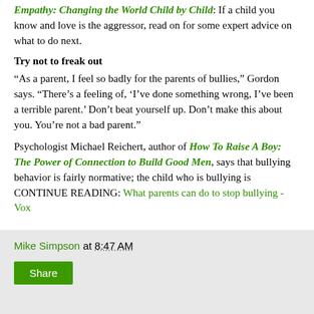Empathy: Changing the World Child by Child. If a child you know and love is the aggressor, read on for some expert advice on what to do next.
Try not to freak out
“As a parent, I feel so badly for the parents of bullies,” Gordon says. “There’s a feeling of, ‘I’ve done something wrong, I’ve been a terrible parent.’ Don’t beat yourself up. Don’t make this about you. You’re not a bad parent.”
Psychologist Michael Reichert, author of How To Raise A Boy: The Power of Connection to Build Good Men, says that bullying behavior is fairly normative; the child who is bullying is CONTINUE READING: What parents can do to stop bullying - Vox
Mike Simpson at 8:47 AM
Share